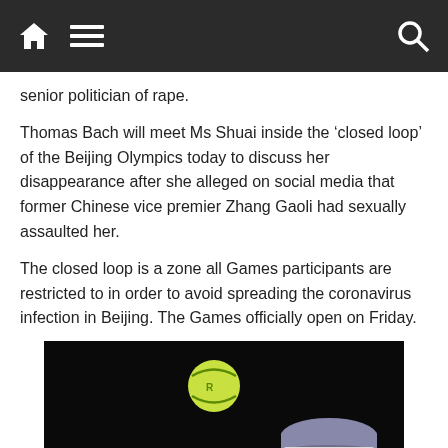Navigation bar with home, menu, and search icons
senior politician of rape.
Thomas Bach will meet Ms Shuai inside the ‘closed loop’ of the Beijing Olympics today to discuss her disappearance after she alleged on social media that former Chinese vice premier Zhang Gaoli had sexually assaulted her.
The closed loop is a zone all Games participants are restricted to in order to avoid spreading the coronavirus infection in Beijing. The Games officially open on Friday.
[Figure (photo): A female tennis player tossing a yellow tennis ball up against a dark background, wearing a visor cap. Appears to be Peng Shuai.]